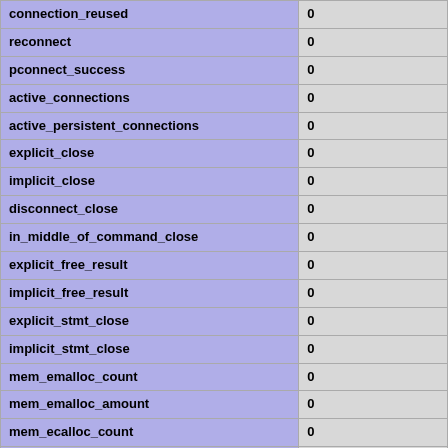| key | value |
| --- | --- |
| connection_reused | 0 |
| reconnect | 0 |
| pconnect_success | 0 |
| active_connections | 0 |
| active_persistent_connections | 0 |
| explicit_close | 0 |
| implicit_close | 0 |
| disconnect_close | 0 |
| in_middle_of_command_close | 0 |
| explicit_free_result | 0 |
| implicit_free_result | 0 |
| explicit_stmt_close | 0 |
| implicit_stmt_close | 0 |
| mem_emalloc_count | 0 |
| mem_emalloc_amount | 0 |
| mem_ecalloc_count | 0 |
| mem_ecalloc_amount | 0 |
| mem_erealloc_count | 0 |
| mem_erealloc_amount | 0 |
| mem_efree_count | 0 |